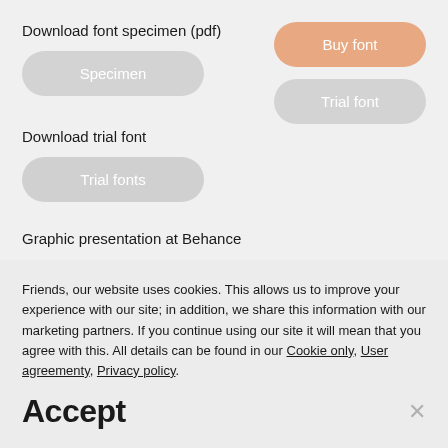Download font specimen (pdf)
[Figure (screenshot): Specimen button (rounded grey pill button)]
[Figure (screenshot): Buy font button (rounded orange/salmon pill button) and Trial font button (rounded grey pill button) on the right side]
Download trial font
[Figure (screenshot): Trial fonts button (rounded light grey pill button)]
Graphic presentation at Behance
Friends, our website uses cookies. This allows us to improve your experience with our site; in addition, we share this information with our marketing partners. If you continue using our site it will mean that you agree with this. All details can be found in our Cookie only, User agreementy, Privacy policy.
Accept
×